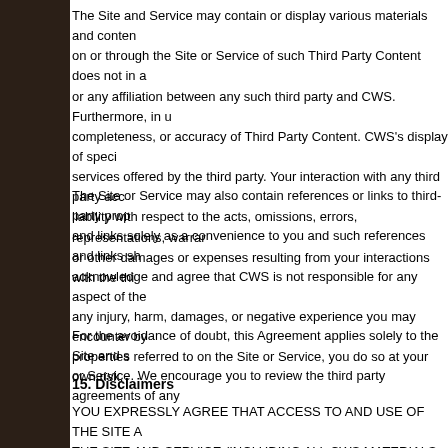The Site and Service may contain or display various materials and content on or through the Site or Service of such Third Party Content does not in a or any affiliation between any such third party and CWS. Furthermore, in u completeness, or accuracy of Third Party Content. CWS's display of speci services offered by the third party. Your interaction with any third party acc liability with respect to the acts, omissions, errors, representations, warra or other damages or expenses resulting from your interactions with the thi
The Site or Service may also contain references or links to third-party prop and links solely as a convenience to you and such references and links sh acknowledge and agree that CWS is not responsible for any aspect of the any injury, harm, damages, or negative experience you may encounter by properties referred to on the Site or Service, you do so at your own risk.
For the avoidance of doubt, this Agreement applies solely to the Site and or Service. We encourage you to review the third party agreements of any
15. Disclaimers
YOU EXPRESSLY AGREE THAT ACCESS TO AND USE OF THE SITE A THE SITE AND SERVICE (INCLUDING ALL CWS MATERIALS, THIRD-P ARE PROVIDED ON AN "AS IS" AND AN "AS AVAILABLE" BASIS. EXCE